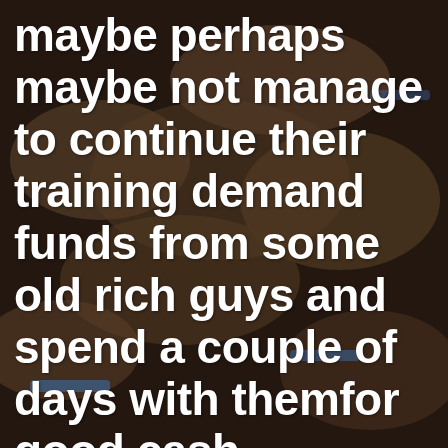[Figure (photo): Background photo of multiple hands stacked together, some wearing blue wristbands with text 'EMFASIS', dark muted tones]
maybe perhaps maybe not manage to continue their training demand funds from some old rich guys and spend a couple of days with themfor good cash.